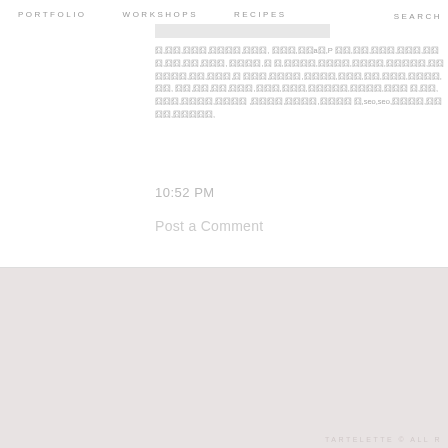PORTFOLIO   WORKSHOPS   RECIPES   SEARCH
囧,囧囧,囧囧囧,囧囧囧囧,囧囧囧囧, 囧囧囧,囧囧a囧,P 囧囧,囧囧,囧囧囧,囧囧囧,囧囧囧,囧囧,囧囧,囧囧囧, 囧囧囧囧,囧 囧,囧囧囧囧,囧囧囧囧,囧囧囧囧,囧囧囧囧囧,囧囧囧囧囧囧,囧囧,囧囧囧, 囧囧囧囧,囧囧囧囧,囧囧囧囧,囧囧囧,囧囧,囧囧囧,囧囧囧囧,囧囧, 囧囧,囧囧,囧囧,囧囧囧,囧囧囧,囧囧囧,囧囧囧囧囧,囧囧囧囧,囧囧囧 囧,囧囧,囧囧囧,囧囧囧囧,囧囧囧囧 ,囧囧囧囧,囧囧囧囧,囧囧囧囧 囧,seo,seo,囧囧囧囧,囧囧囧囧,囧囧囧囧囧,
10:52 PM
Post a Comment
TARTELETTE © ALL R